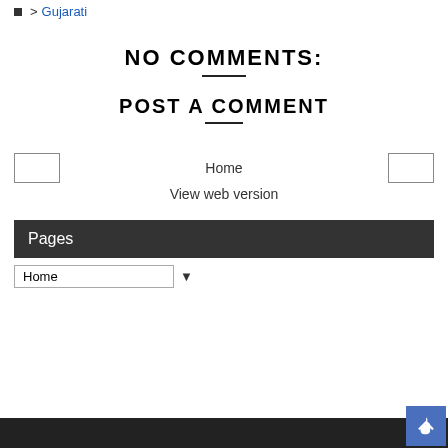▸ Gujarati
NO COMMENTS:
POST A COMMENT
Home
View web version
Pages
Home